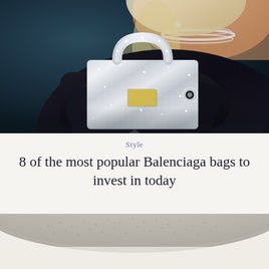[Figure (photo): A person wearing black gloves and a black textured outfit, holding a crystal/rhinestone-encrusted Balenciaga handbag with a glittery top handle. They are also wearing a layered diamond choker necklace. The background is dark teal/navy.]
Style
8 of the most popular Balenciaga bags to invest in today
[Figure (photo): Partial view of a crystal-encrusted or textured curved surface of a Balenciaga bag on a light background, showing just the top curved handle/edge of the bag.]